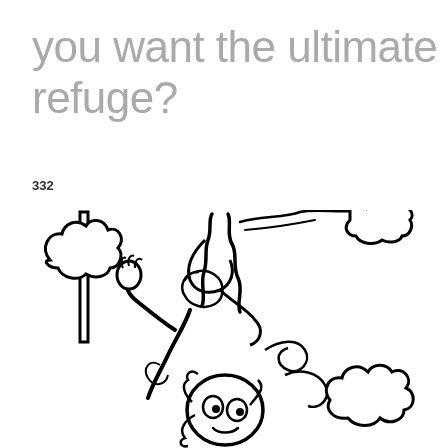you want the ultimate refuge?
332
[Figure (illustration): Black and white cartoon illustration of a person falling or tumbling upside-down, surrounded by swirling clouds and smoke. The figure appears distressed with wide eyes, wearing a scarf that billows outward, with arms raised and hair disheveled. There is a vertical rectangular frame element on the left side.]